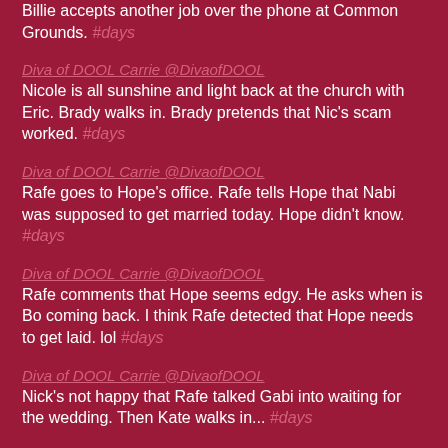Billie accepts another job over the phone at Common Grounds. #days
Diva of DOOL Carrie @DivaofDOOL
Nicole is all sunshine and light back at the church with Eric. Brady walks in. Brady pretends that Nic's scam worked. #days
Diva of DOOL Carrie @DivaofDOOL
Rafe goes to Hope's office. Rafe tells Hope that Nabi was supposed to get married today. Hope didn't know. #days
Diva of DOOL Carrie @DivaofDOOL
Rafe comments that Hope seems edgy. He asks when is Bo coming back. I think Rafe detected that Hope needs to get laid. lol #days
Diva of DOOL Carrie @DivaofDOOL
Nick's not happy that Rafe talked Gabi into waiting for the wedding. Then Kate walks in... #days
Diva of DOOL Carrie @DivaofDOOL